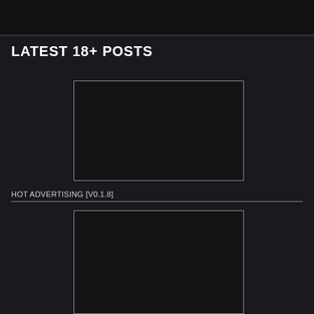LATEST 18+ POSTS
[Figure (other): Dark rectangular image placeholder with thin white border]
HOT ADVERTISING [V0.1.8]
[Figure (other): Dark rectangular image placeholder with thin white border below divider line]